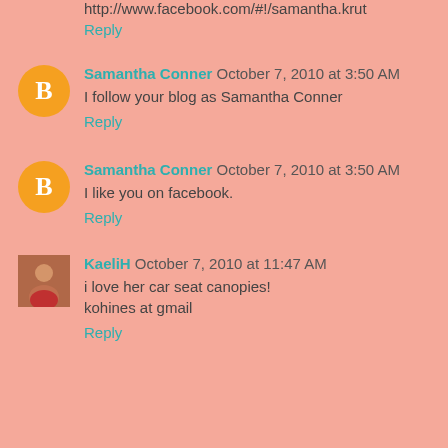http://www.facebook.com/#!/samantha.krut
Reply
Samantha Conner October 7, 2010 at 3:50 AM
I follow your blog as Samantha Conner
Reply
Samantha Conner October 7, 2010 at 3:50 AM
I like you on facebook.
Reply
KaeliH October 7, 2010 at 11:47 AM
i love her car seat canopies!
kohines at gmail
Reply